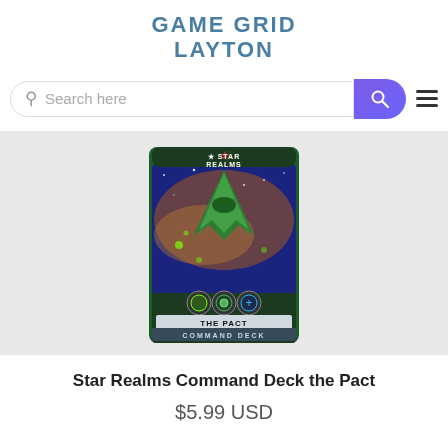GAME GRID LAYTON
[Figure (screenshot): Search bar with purple search button and hamburger menu icon]
[Figure (photo): Star Realms Command Deck The Pact card game box art featuring a green spacecraft against a space background with faction symbols and text 'THE PACT COMMAND DECK']
Star Realms Command Deck the Pact
$5.99 USD